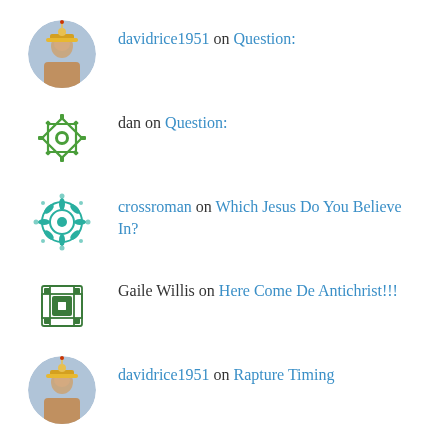davidrice1951 on Question:
dan on Question:
crossroman on Which Jesus Do You Believe In?
Gaile Willis on Here Come De Antichrist!!!
davidrice1951 on Rapture Timing
ARCHIVES